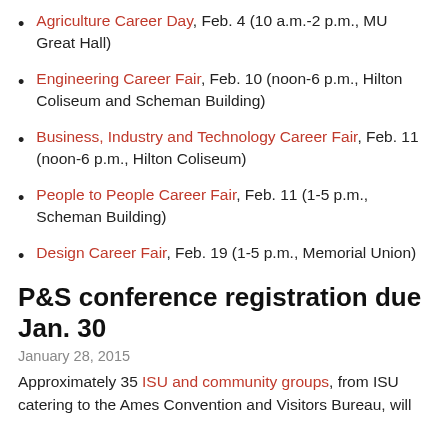Agriculture Career Day, Feb. 4 (10 a.m.-2 p.m., MU Great Hall)
Engineering Career Fair, Feb. 10 (noon-6 p.m., Hilton Coliseum and Scheman Building)
Business, Industry and Technology Career Fair, Feb. 11 (noon-6 p.m., Hilton Coliseum)
People to People Career Fair, Feb. 11 (1-5 p.m., Scheman Building)
Design Career Fair, Feb. 19 (1-5 p.m., Memorial Union)
P&S conference registration due Jan. 30
January 28, 2015
Approximately 35 ISU and community groups, from ISU catering to the Ames Convention and Visitors Bureau, will